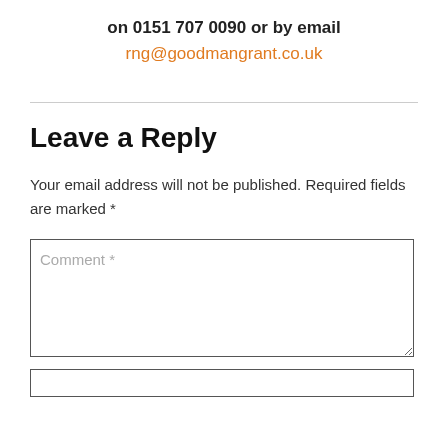on 0151 707 0090 or by email
rng@goodmangrant.co.uk
Leave a Reply
Your email address will not be published. Required fields are marked *
Comment *